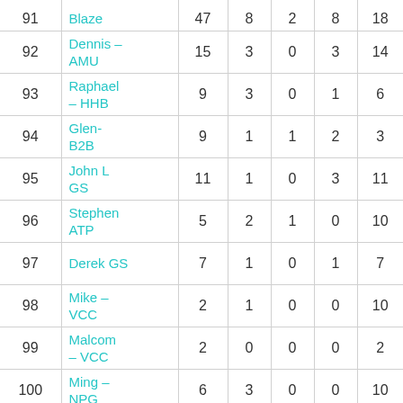| # | Name | Col1 | Col2 | Col3 | Col4 | Col5 |
| --- | --- | --- | --- | --- | --- | --- |
| 91 | Blaze | ... | ... | ... | ... | ... |
| 92 | Dennis – AMU | 15 | 3 | 0 | 3 | 14 |
| 93 | Raphael – HHB | 9 | 3 | 0 | 1 | 6 |
| 94 | Glen-B2B | 9 | 1 | 1 | 2 | 3 |
| 95 | John L GS | 11 | 1 | 0 | 3 | 11 |
| 96 | Stephen ATP | 5 | 2 | 1 | 0 | 10 |
| 97 | Derek GS | 7 | 1 | 0 | 1 | 7 |
| 98 | Mike – VCC | 2 | 1 | 0 | 0 | 10 |
| 99 | Malcom – VCC | 2 | 0 | 0 | 0 | 2 |
| 100 | Ming – NPG | 6 | 3 | 0 | 0 | 10 |